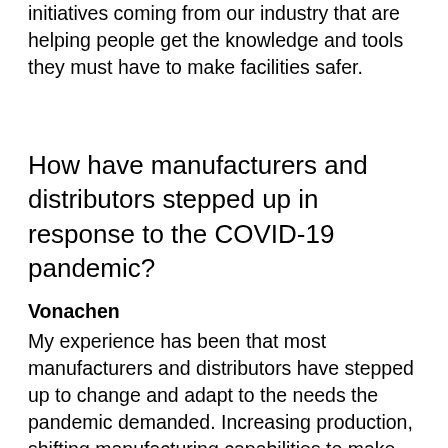initiatives coming from our industry that are helping people get the knowledge and tools they must have to make facilities safer.
How have manufacturers and distributors stepped up in response to the COVID-19 pandemic?
Vonachen
My experience has been that most manufacturers and distributors have stepped up to change and adapt to the needs the pandemic demanded. Increasing production, shifting manufacturing capabilities to make more of the products needed to deal with the pandemic, and other tactics have been demonstrated. Distributors have leveraged all their capabilities to get products to essential facilities and businesses.